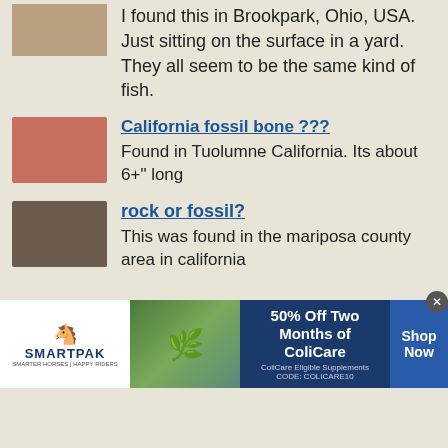I found this in Brookpark, Ohio, USA. Just sitting on the surface in a yard. They all seem to be the same kind of fish.
California fossil bone ???
Found in Tuolumne California. Its about 6+" long
rock or fossil?
This was found in the mariposa county area in california
Hopeful
My boys and I went for a nature walk I
[Figure (screenshot): Advertisement banner for SmartPak featuring ColiCare supplement offer: 50% Off Two Months of ColiCare, ColiCare Eligible Supplements, CODE: COLICARE10, with Shop Now button]